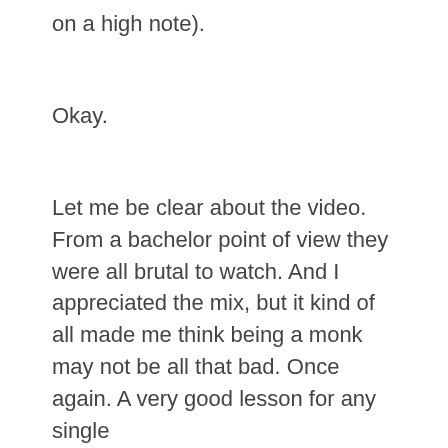on a high note).
Okay.
Let me be clear about the video. From a bachelor point of view they were all brutal to watch. And I appreciated the mix, but it kind of all made me think being a monk may not be all that bad. Once again. A very good lesson for any single